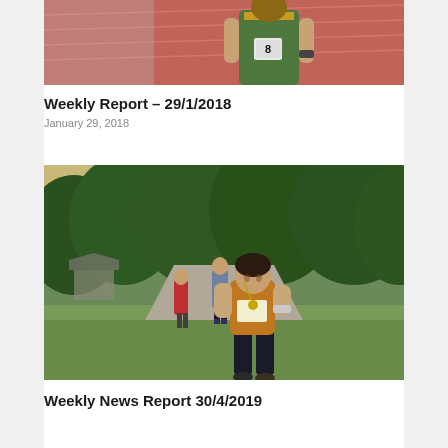[Figure (photo): Person wearing a green and yellow athletic singlet with race number 8, standing on a red running track]
Weekly Report – 29/1/2018
January 29, 2018
[Figure (photo): Three runners on a paved trail path surrounded by green trees and grass at dusk, lead runner in orange shirt with race bib]
Weekly News Report 30/4/2019